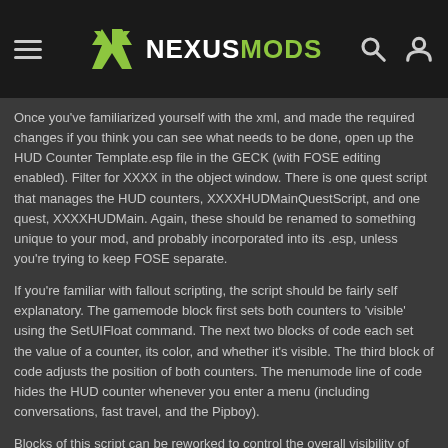NexusMods header with logo
Once you've familiarized yourself with the xml, and made the required changes if you think you can see what needs to be done, open up the HUD Counter Template.esp file in the GECK (with FOSE editing enabled). Filter for XXXX in the object window. There is one quest script that manages the HUD counters, XXXXHUDMainQuestScript, and one quest, XXXXHUDMain. Again, these should be renamed to something unique to your mod, and probably incorporated into its .esp, unless you're trying to keep FOSE separate.
If you're familiar with fallout scripting, the script should be fairly self explanatory. The gamemode block first sets both counters to 'visible' using the SetUIFloat command. The next two blocks of code each set the value of a counter, its color, and whether it's visible. The third block of code adjusts the position of both counters. The menumode line of code hides the HUD counter whenever you enter a menu (including conversations, fast travel, and the Pipboy).
Blocks of this script can be reworked to control the overall visibility of either hud element. You could make them visible only when the player has a certain helmet equipped, or is sneaking, or in combat. You can change the values that are displayed. You can change or remove the warning appearances.
Obviously, if everyone starts adding hud elements they're going to start